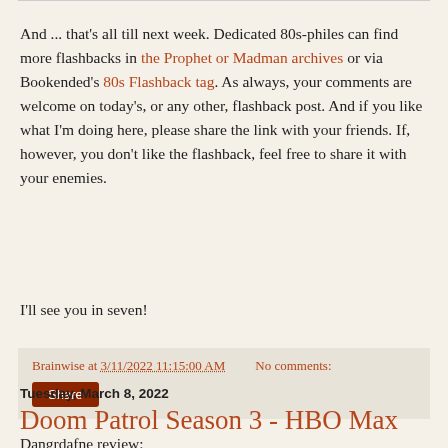And ... that's all till next week. Dedicated 80s-philes can find more flashbacks in the Prophet or Madman archives or via Bookended's 80s Flashback tag. As always, your comments are welcome on today's, or any other, flashback post. And if you like what I'm doing here, please share the link with your friends. If, however, you don't like the flashback, feel free to share it with your enemies.
I'll see you in seven!
Brainwise at 3/11/2022 11:15:00 AM   No comments:
Share
Tuesday, March 8, 2022
Doom Patrol Season 3 - HBO Max
Dangrdafne review: